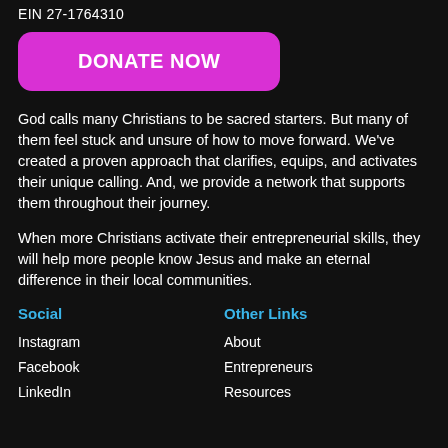EIN 27-1764310
[Figure (other): DONATE NOW button in magenta/pink color with rounded corners]
God calls many Christians to be sacred starters. But many of them feel stuck and unsure of how to move forward. We've created a proven approach that clarifies, equips, and activates their unique calling. And, we provide a network that supports them throughout their journey.
When more Christians activate their entrepreneurial skills, they will help more people know Jesus and make an eternal difference in their local communities.
Social
Other Links
Instagram
About
Facebook
Entrepreneurs
LinkedIn
Resources